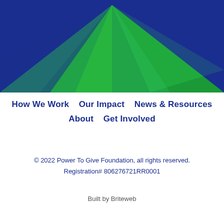[Figure (illustration): Blue and green geometric triangle shapes on dark blue background forming a decorative header graphic]
How We Work    Our Impact    News & Resources
About    Get Involved
© 2022 Power To Give Foundation, all rights reserved.
Registration# 806276721RR0001
Built by Briteweb